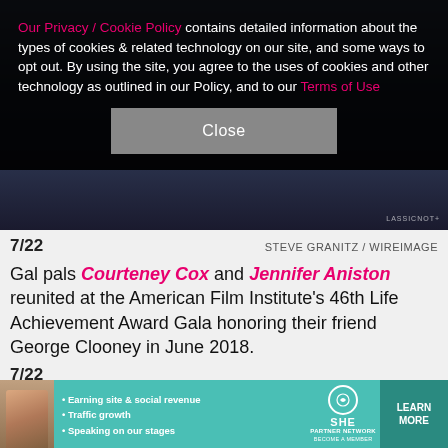[Figure (photo): Partially visible photo of people at an event, overlaid by cookie consent banner and close button]
Our Privacy / Cookie Policy contains detailed information about the types of cookies & related technology on our site, and some ways to opt out. By using the site, you agree to the uses of cookies and other technology as outlined in our Policy, and to our Terms of Use
Close
7/22
STEVE GRANITZ / WIREIMAGE
Gal pals Courteney Cox and Jennifer Aniston reunited at the American Film Institute's 46th Life Achievement Award Gala honoring their friend George Clooney in June 2018.
7/22
Gal pals Courteney Cox and Jennifer Aniston reunited
[Figure (infographic): Advertisement for SHE Partner Network with bullet points: Earning site & social revenue, Traffic growth, Speaking on our stages. Includes LEARN MORE button.]